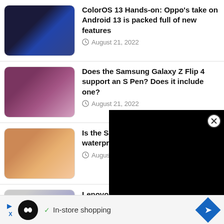ColorOS 13 Hands-on: Oppo's take on Android 13 is packed full of new features — August 21, 2022
Does the Samsung Galaxy Z Flip 4 support an S Pen? Does it include one? — August 21, 2022
Is the Samsung Galaxy Z Fold 4 waterproof? Does it have an IP rating? — August 20, 2022
Lenovo IdeaPad Duet 3 Chromebook review: A sequel with much more to offer — August 20, 2022
[Figure (screenshot): Black video player popup overlay with close (X) button in top-right corner]
[Figure (infographic): Advertisement bar at bottom: arrow icon, X icon, black circle with infinity symbol, checkmark, 'In-store shopping' text, blue diamond arrow icon]